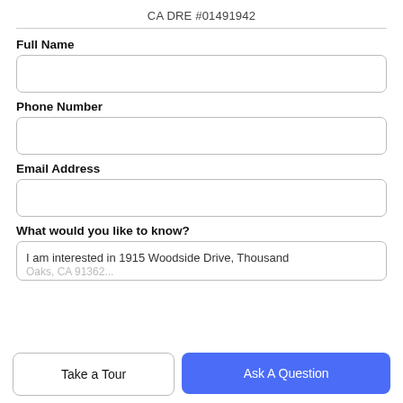CA DRE #01491942
Full Name
Phone Number
Email Address
What would you like to know?
I am interested in 1915 Woodside Drive, Thousand
Take a Tour
Ask A Question